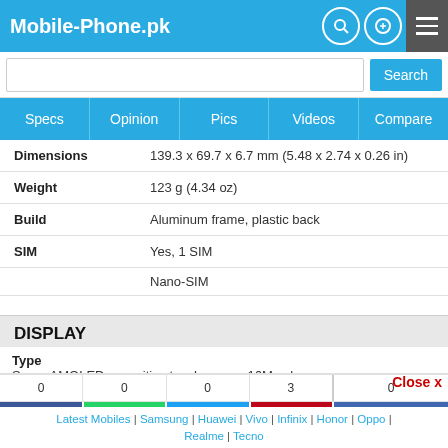Mobile-Phone.pk
| Spec | Value |
| --- | --- |
| Dimensions | 139.3 x 69.7 x 6.7 mm (5.48 x 2.74 x 0.26 in) |
| Weight | 123 g (4.34 oz) |
| Build | Aluminum frame, plastic back |
| SIM | Yes, 1 SIM |
|  | Nano-SIM |
DISPLAY
Type
Super AMOLED capacitive touchscreen, 16M colors
Size
5.0 inches, 68.9 cm2 (~71.0% screen-to-body ratio)
0  0  0  3  |  0
Share | WhatsApp | Tweet | Pin | Recommend
Latest Mobiles | Samsung | Huawei | Vivo | Infinix | Honor | Oppo | Realme | Tecno